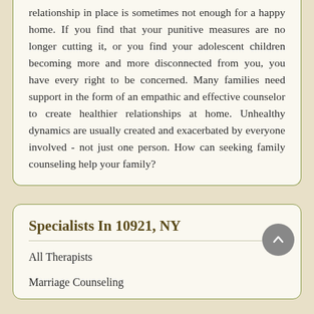relationship in place is sometimes not enough for a happy home. If you find that your punitive measures are no longer cutting it, or you find your adolescent children becoming more and more disconnected from you, you have every right to be concerned. Many families need support in the form of an empathic and effective counselor to create healthier relationships at home. Unhealthy dynamics are usually created and exacerbated by everyone involved - not just one person. How can seeking family counseling help your family?
Specialists In 10921, NY
All Therapists
Marriage Counseling